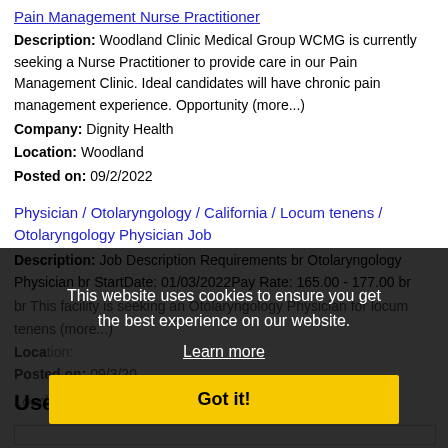Pain Management Nurse Practitioner
Description: Woodland Clinic Medical Group WCMG is currently seeking a Nurse Practitioner to provide care in our Pain Management Clinic. Ideal candidates will have chronic pain management experience. Opportunity (more...)
Company: Dignity Health
Location: Woodland
Posted on: 09/2/2022
Physician / Otolaryngology / California / Locum tenens / Otolaryngology Physician Job
Description: Job Description Requirements br Otolaryngology Physician br StartDate: 01/03/2022Pay Rate: 165.00 - 177.00 br br This facility is seeking an Otolaryngology Physician for locum tenens (more...)
Location: [partially obscured]
Posted on: 09/3/20[partially obscured]
Loading more jobs...
This website uses cookies to ensure you get the best experience on our website. Learn more Got it!
Username: